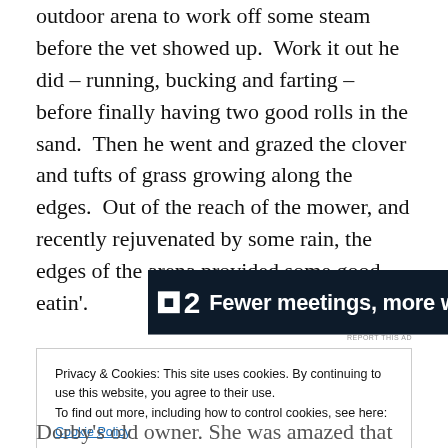outdoor arena to work off some steam before the vet showed up.  Work it out he did – running, bucking and farting – before finally having two good rolls in the sand.  Then he went and grazed the clover and tufts of grass growing along the edges.  Out of the reach of the mower, and recently rejuvenated by some rain, the edges of the arena provided some good eatin'.
[Figure (screenshot): Advertisement banner for 'F2' with dark navy background. Shows a small white square logo with 'F' and the number '2', followed by white bold text: 'Fewer meetings, more work.']
REPORT THIS AD
Privacy & Cookies: This site uses cookies. By continuing to use this website, you agree to their use.
To find out more, including how to control cookies, see here: Cookie Policy
Dorby's old owner. She was amazed that Dorby – who is